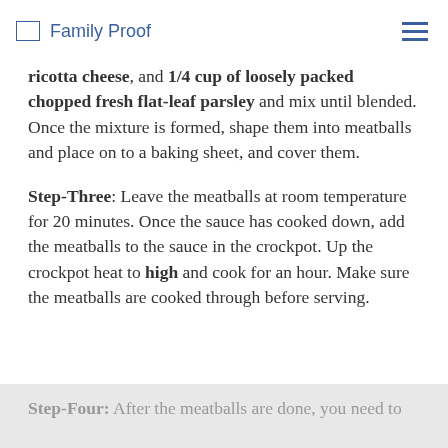Family Proof
ricotta cheese, and 1/4 cup of loosely packed chopped fresh flat-leaf parsley and mix until blended. Once the mixture is formed, shape them into meatballs and place on to a baking sheet, and cover them.
Step-Three: Leave the meatballs at room temperature for 20 minutes. Once the sauce has cooked down, add the meatballs to the sauce in the crockpot. Up the crockpot heat to high and cook for an hour. Make sure the meatballs are cooked through before serving.
Step-Four: After the meatballs are done, you need to